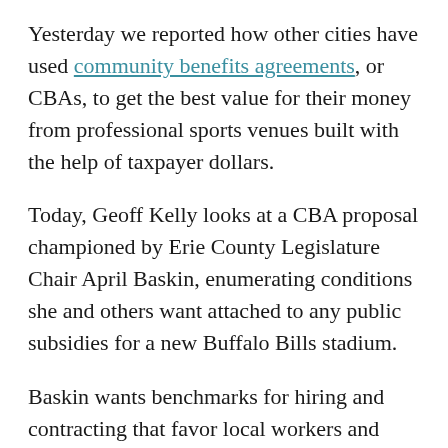Yesterday we reported how other cities have used community benefits agreements, or CBAs, to get the best value for their money from professional sports venues built with the help of taxpayer dollars.
Today, Geoff Kelly looks at a CBA proposal championed by Erie County Legislature Chair April Baskin, enumerating conditions she and others want attached to any public subsidies for a new Buffalo Bills stadium.
Baskin wants benchmarks for hiring and contracting that favor local workers and firms, support women- and minority-owned businesses, and ensure good-paying jobs during and after construction. Her proposal also asks the Bills to commit $100 million to fund programs that benefit Erie County's urban and rural